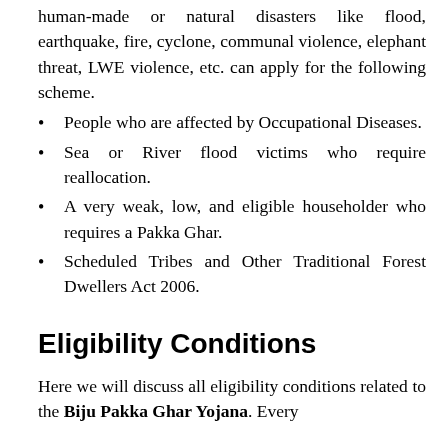human-made or natural disasters like flood, earthquake, fire, cyclone, communal violence, elephant threat, LWE violence, etc. can apply for the following scheme.
People who are affected by Occupational Diseases.
Sea or River flood victims who require reallocation.
A very weak, low, and eligible householder who requires a Pakka Ghar.
Scheduled Tribes and Other Traditional Forest Dwellers Act 2006.
Eligibility Conditions
Here we will discuss all eligibility conditions related to the Biju Pakka Ghar Yojana. Every